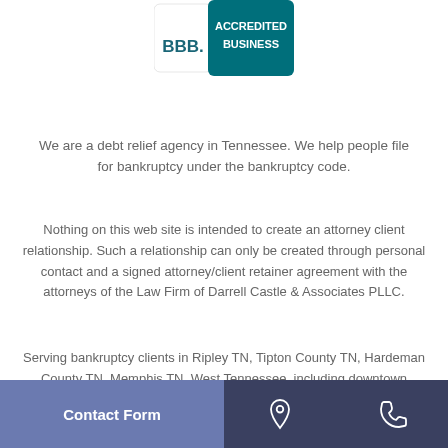[Figure (logo): BBB Accredited Business logo with teal/dark teal background and white text]
We are a debt relief agency in Tennessee. We help people file for bankruptcy under the bankruptcy code.
Nothing on this web site is intended to create an attorney client relationship. Such a relationship can only be created through personal contact and a signed attorney/client retainer agreement with the attorneys of the Law Firm of Darrell Castle & Associates PLLC.
Serving bankruptcy clients in Ripley TN, Tipton County TN, Hardeman County TN, Memphis TN, West Tennessee, including downtown Memphis, Midtown Memphis TN, Bartlett TN, Cordova TN, Germantown TN, Collierville TN, Millington TN, Covington TN, Somerville TN and Fayette
Contact Form